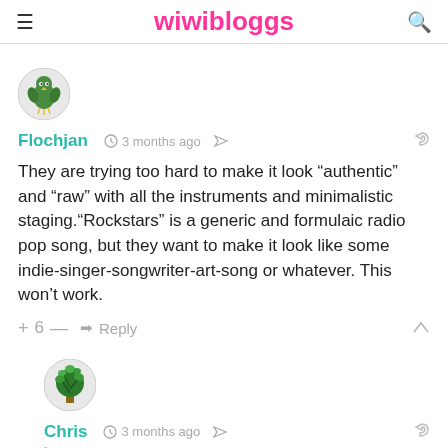wiwibloggs
[Figure (illustration): Round avatar with green bird/creature icon on grey background]
Flochjan  3 months ago
They are trying too hard to make it look “authentic” and “raw” with all the instruments and minimalistic staging.“Rockstars” is a generic and formulaic radio pop song, but they want to make it look like some indie-singer-songwriter-art-song or whatever. This won’t work.
+ 6 —  Reply
[Figure (illustration): Round avatar with plant/tree illustration on grey background]
Chris  3 months ago
Reply to Flochjan
except the song wrote the song....the definition of a singer-songwriter song